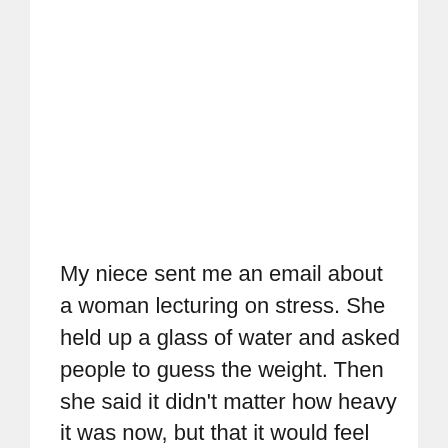My niece sent me an email about a woman lecturing on stress. She held up a glass of water and asked people to guess the weight. Then she said it didn't matter how heavy it was now, but that it would feel heavier the longer she held it. If she didn't set it down, her arm would start to ache, then cramp, then stiffen. She said that is how stress is. We can only carry it around for so long before it